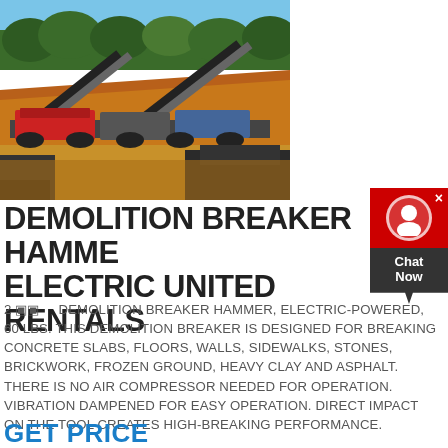[Figure (photo): Outdoor photo of heavy industrial crushing/screening equipment machinery at a construction or mining site with red dirt ground and green trees in background]
DEMOLITION BREAKER HAMMER ELECTRIC UNITED RENTALS
2 🔲    DEMOLITION BREAKER HAMMER, ELECTRIC-POWERED, 60 LBS. THIS DEMOLITION BREAKER IS DESIGNED FOR BREAKING CONCRETE SLABS, FLOORS, WALLS, SIDEWALKS, STONES, BRICKWORK, FROZEN GROUND, HEAVY CLAY AND ASPHALT. THERE IS NO AIR COMPRESSOR NEEDED FOR OPERATION. VIBRATION DAMPENED FOR EASY OPERATION. DIRECT IMPACT ON THE TOOL CREATES HIGH-BREAKING PERFORMANCE.
GET PRICE